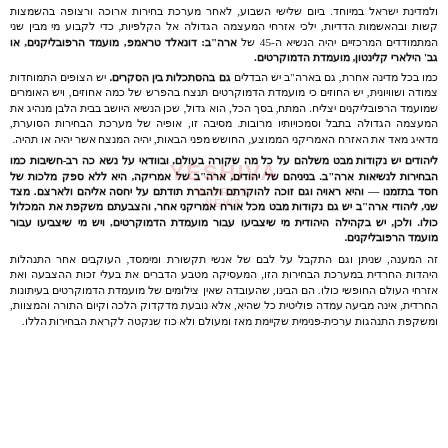ולמדינת ישראל במיוחד. ביום שלישי השבוע, לאחר מערכת בחירות ארוכה ורצופה בהשמצות קשות ובהאשמות הדדיות, ילכי אזרחי המעצמה הגדולה אל הקלפיות, כדי לקביע מי מבין שני המתמודדים המרכזיים יהיה הנשיא ה-45 של ארה"ב: דונאלד טראמפ, מועמד הרפובליקנים, או גב' הילארי קלינטון, מועמדת הדמוקרטים.
כמו בכל מדינה אחרת, גם בארה"ב יש הבדלים גם בהסתכלות בין הסקרים. יש הצופים התמוחדות צמודה ושוויונית, יש החוזים כי מועמדת הדמוקרטים תנצח בהפרש של כמה אחוזים, ויש האומרים שמועמד הרפובליקנים יצליח. המתח, בסך הכל, הוא גדול, שכן הנשיא היושב בבית הלבן מנהיג את המעצמה הגדולה בתבל וסמכויותיו מרובות. מסיבה זו, אופיה של מערכת הבחירות הסוערת, מדאיג מאד את האזרח האמריקני הממוצע, החושש מפני הבאות, יהיה המנצח אשר יהיה או תהיה.
ליהודים יש נקודות מבט משלהם על כל מה שקורה בעולם, ובוודאי על נשא כה רב-חשיבות כמו הבחירות לנשיאות ארה"ב. בניניהם של יהודים, ארה"ב של אמריקה, היא ללא ספק מלכות של חסד בתזמנו — והיא ראויה וגם זוכה להוקרתם ולהברת תודתם על יחסה אליהם ולארצם. מצד שני, ליהודי ארה"ב יש גם נקודות מבט מכל אורח אמריקני אחר, והצבעתם משקפת את המכלול כולו. ולכן, יש בקהילה היהודית מי שיצביעו עבור מועמדת הדמוקרטים, ויש מי שיצביעו עבור מועמד הרפובליקנים.
זה המענה, שניתן וגם התקבל על לבם של אנשי תקשורת ומימסד, העוקבים אחר התנהלות היהדות החרדית במערכת הבחירות הזו, המעסיקה מטבע הדברים את בעלי זכות ההצבעה ואת אזרחי העולם החופשי כולו. הם הבינו, שהעובדה שאין צילומים של מועמדת הדמוקרטים בעיתונות החרדית, אינה מביעה עמדה פוליטית כל שהיא, אלא נובעת מדקדוק הלכה וקיום התורה והמצוות, ומשקפת התנהגות ערכית-פנימית שקיימת מאז ומעולם ולא כוז שנקטה לקראת הבחירות הללו.